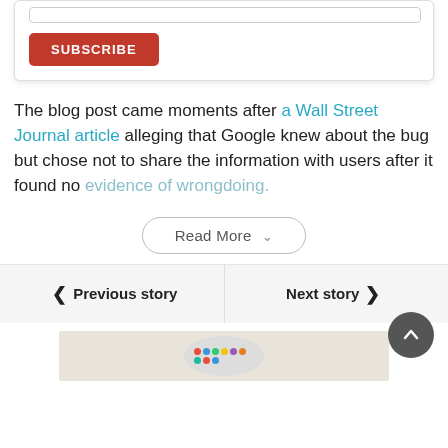[Figure (screenshot): Subscribe form with input bar and red SUBSCRIBE button]
The blog post came moments after a Wall Street Journal article alleging that Google knew about the bug but chose not to share the information with users after it found no evidence of wrongdoing.
Read More
< Previous story    Next story >
[Figure (other): Advertisement banner with colorful logo at bottom of page]